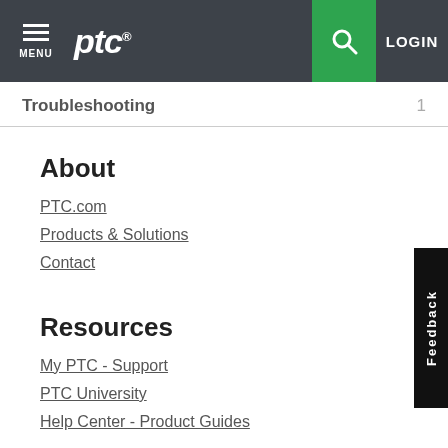PTC MENU | LOGIN
Troubleshooting 1
About
PTC.com
Products & Solutions
Contact
Resources
My PTC - Support
PTC University
Help Center - Product Guides